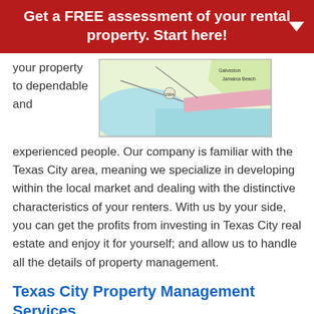Get a FREE assessment of your rental property. Start here!
your property to dependable and
[Figure (map): Map showing the Texas City / Galveston area including Jamaica Beach]
experienced people. Our company is familiar with the Texas City area, meaning we specialize in developing within the local market and dealing with the distinctive characteristics of your renters. With us by your side, you can get the profits from investing in Texas City real estate and enjoy it for yourself; and allow us to handle all the details of property management.
Texas City Property Management Services
Real Property Management Preferred's residential property management services include:
On-going Communication